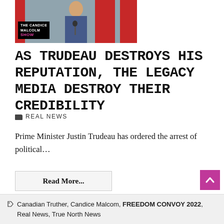[Figure (photo): Photo of Justin Trudeau speaking at a podium with Canadian flags in the background, with 'THE CANDICE MALCOLM SHOW' overlay text in bottom left]
AS TRUDEAU DESTROYS HIS REPUTATION, THE LEGACY MEDIA DESTROY THEIR CREDIBILITY
REAL NEWS
Prime Minister Justin Trudeau has ordered the arrest of political…
Read More...
Canadian Truther, Candice Malcom, FREEDOM CONVOY 2022, Real News, True North News